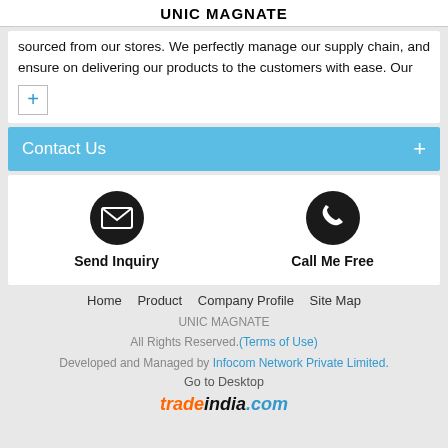UNIC MAGNATE
sourced from our stores. We perfectly manage our supply chain, and ensure on delivering our products to the customers with ease. Our
Contact Us +
[Figure (infographic): Two circular black icons side by side: envelope/mail icon labeled 'Send Inquiry' and phone icon labeled 'Call Me Free']
Home   Product   Company Profile   Site Map
UNIC MAGNATE
All Rights Reserved.(Terms of Use)
Developed and Managed by Infocom Network Private Limited.
Go to Desktop
tradeindia.com